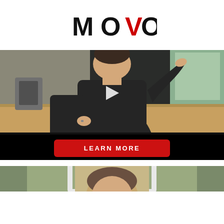[Figure (logo): MOVO logo in bold black and red text, with the V in red]
[Figure (screenshot): Video player showing a man in dark sweater in a kitchen, with a play button overlay and a red LEARN MORE button on black bar below]
[Figure (photo): Partial photo of a person's head and shoulders, appears to be framed in a white border, cropped at bottom of page]